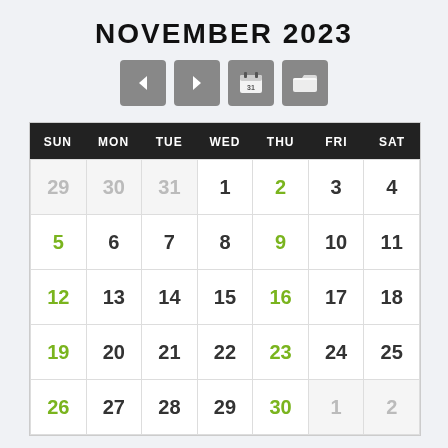NOVEMBER 2023
[Figure (other): Navigation buttons: left arrow, right arrow, calendar icon with 31, folder icon]
| SUN | MON | TUE | WED | THU | FRI | SAT |
| --- | --- | --- | --- | --- | --- | --- |
| 29 | 30 | 31 | 1 | 2 | 3 | 4 |
| 5 | 6 | 7 | 8 | 9 | 10 | 11 |
| 12 | 13 | 14 | 15 | 16 | 17 | 18 |
| 19 | 20 | 21 | 22 | 23 | 24 | 25 |
| 26 | 27 | 28 | 29 | 30 | 1 | 2 |